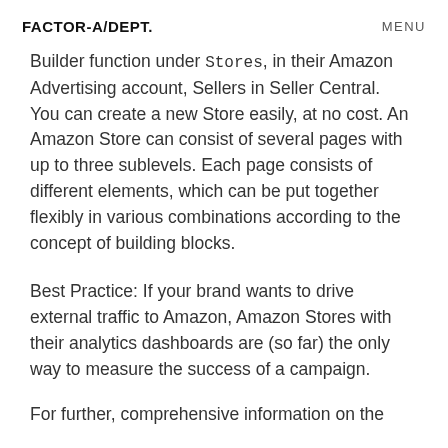FACTOR-A/DEPT.    MENU
Builder function under Stores, in their Amazon Advertising account, Sellers in Seller Central. You can create a new Store easily, at no cost. An Amazon Store can consist of several pages with up to three sublevels. Each page consists of different elements, which can be put together flexibly in various combinations according to the concept of building blocks.
Best Practice: If your brand wants to drive external traffic to Amazon, Amazon Stores with their analytics dashboards are (so far) the only way to measure the success of a campaign.
For further, comprehensive information on the